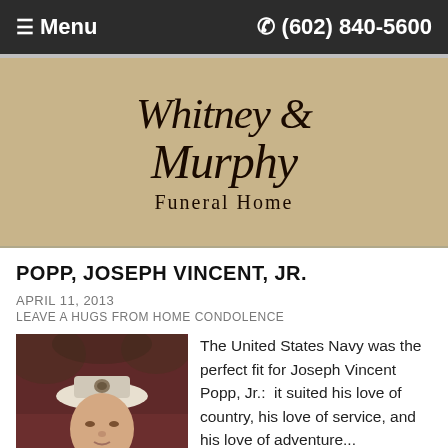≡ Menu   ✆ (602) 840-5600
[Figure (logo): Whitney & Murphy Funeral Home logo on a tan/beige background with decorative serif script typography]
POPP, JOSEPH VINCENT, JR.
APRIL 11, 2013
LEAVE A HUGS FROM HOME CONDOLENCE
[Figure (photo): Vintage photograph of a young man in a United States Navy uniform and white sailor cap]
The United States Navy was the perfect fit for Joseph Vincent Popp, Jr.:  it suited his love of country, his love of service, and his love of adventure...